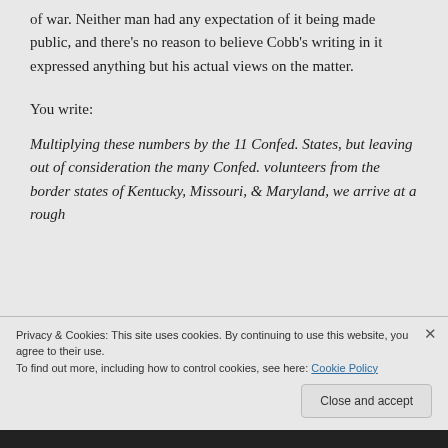of war. Neither man had any expectation of it being made public, and there's no reason to believe Cobb's writing in it expressed anything but his actual views on the matter.
You write:
Multiplying these numbers by the 11 Confed. States, but leaving out of consideration the many Confed. volunteers from the border states of Kentucky, Missouri, & Maryland, we arrive at a rough
Privacy & Cookies: This site uses cookies. By continuing to use this website, you agree to their use.
To find out more, including how to control cookies, see here: Cookie Policy